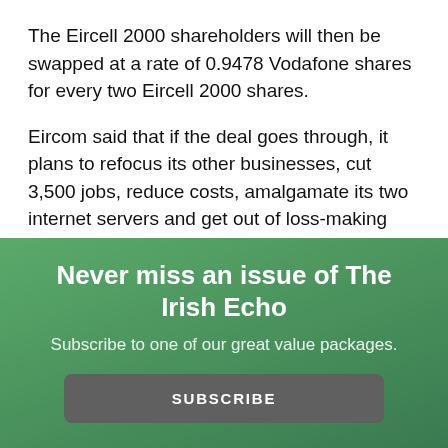The Eircell 2000 shareholders will then be swapped at a rate of 0.9478 Vodafone shares for every two Eircell 2000 shares.
Eircom said that if the deal goes through, it plans to refocus its other businesses, cut 3,500 jobs, reduce costs, amalgamate its two internet servers and get out of loss-making multimedia and internet-software and content-development investments.
Never miss an issue of The Irish Echo
Subscribe to one of our great value packages.
SUBSCRIBE